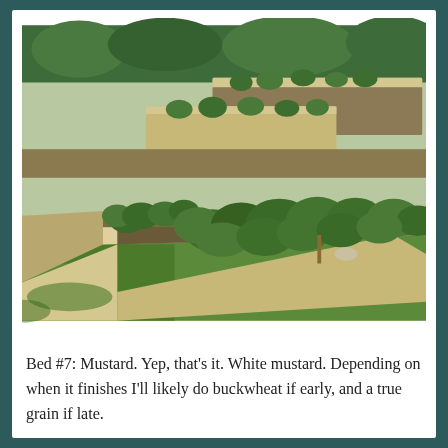[Figure (photo): Photograph of a wooden raised garden bed filled with mustard plants (white mustard), viewed from an angle. The raised bed is made of light-colored wood planks. Green leafy plants fill the bed. Other raised beds are visible in the background. The setting is an outdoor garden with grass around the beds.]
Bed #7: Mustard. Yep, that's it. White mustard. Depending on when it finishes I'll likely do buckwheat if early, and a true grain if late.